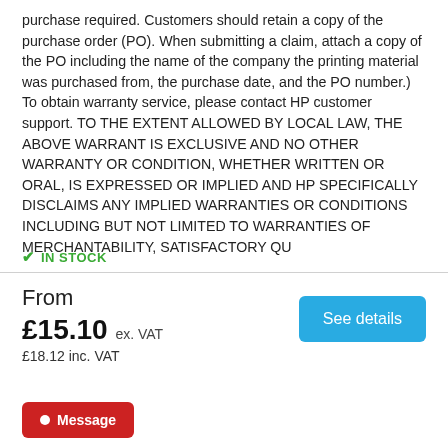purchase required. Customers should retain a copy of the purchase order (PO). When submitting a claim, attach a copy of the PO including the name of the company the printing material was purchased from, the purchase date, and the PO number.) To obtain warranty service, please contact HP customer support. TO THE EXTENT ALLOWED BY LOCAL LAW, THE ABOVE WARRANT IS EXCLUSIVE AND NO OTHER WARRANTY OR CONDITION, WHETHER WRITTEN OR ORAL, IS EXPRESSED OR IMPLIED AND HP SPECIFICALLY DISCLAIMS ANY IMPLIED WARRANTIES OR CONDITIONS INCLUDING BUT NOT LIMITED TO WARRANTIES OF MERCHANTABILITY, SATISFACTORY QU
✓ IN STOCK
From
£15.10 ex. VAT
£18.12 inc. VAT
See details
● Message